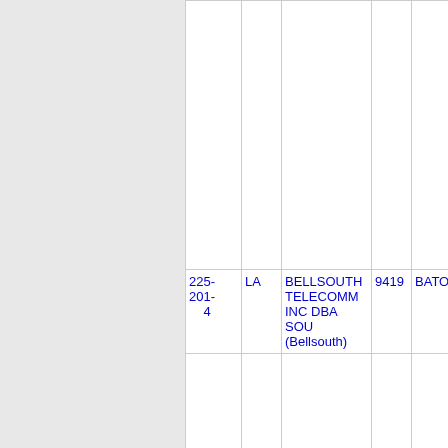| NPA-NXX | State | Company | LATA | City |
| --- | --- | --- | --- | --- |
| 225-201-4 | LA | BELLSOUTH TELECOMM INC DBA SOU (Bellsouth) | 9419 | BATONR... |